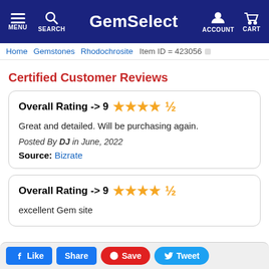GemSelect — MENU SEARCH ACCOUNT CART
Home > Gemstones > Rhodochrosite > Item ID = 423056
Certified Customer Reviews
Overall Rating -> 9 ★★★★½
Great and detailed. Will be purchasing again.
Posted By DJ in June, 2022
Source: Bizrate
Overall Rating -> 9 ★★★★½
excellent Gem site